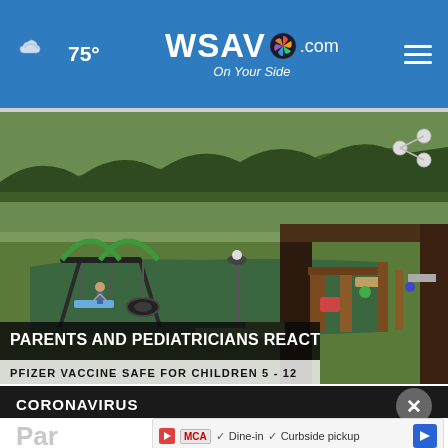WSAV.com On Your Side — 75°
[Figure (screenshot): Video thumbnail showing a playground/park scene with swing sets and play equipment. Lower-third overlay reads: PARENTS AND PEDIATRICIANS REACT / PFIZER VACCINE SAFE FOR CHILDREN 5-12]
CORONAVIRUS
Parents and pediatricians react to possible Pfizer